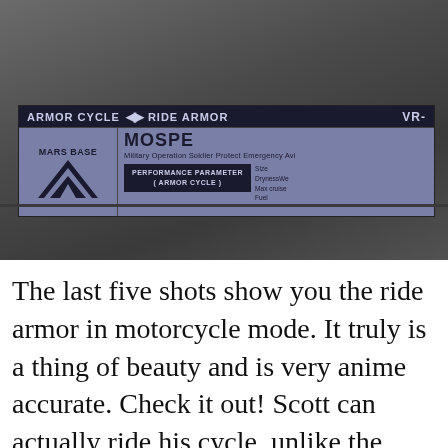[Figure (photo): Close-up photograph of a dark metallic toy/model surface showing a blue-gray information label sticker. The label reads 'ARMOR CYCLE' with an arrow symbol and 'RIDE ARMOR' at the top, 'MARS BASE' logo with chevron/diamond graphic on the left, 'MOSPE...' (MOSPEADA) title, 'Military Operation Soldier Protect Emergency Avi...' text, 'PERFORMANCE PARAMETER (ARMOR CYCLE)' in a dark box, and 'VR-' code on the right side, along with specs: Size, DrynessWe..., Max cruise, Fuel.]
The last five shots show you the ride armor in motorcycle mode. It truly is a thing of beauty and is very anime accurate. Check it out! Scott can actually ride his cycle, unlike the original